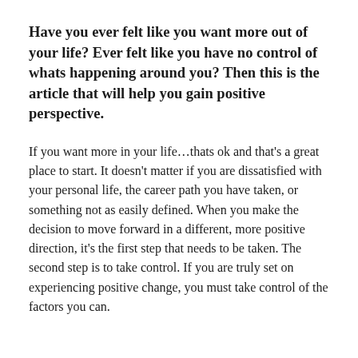Have you ever felt like you want more out of your life? Ever felt like you have no control of whats happening around you? Then this is the article that will help you gain positive perspective.
If you want more in your life…thats ok and that's a great place to start. It doesn't matter if you are dissatisfied with your personal life, the career path you have taken, or something not as easily defined. When you make the decision to move forward in a different, more positive direction, it's the first step that needs to be taken. The second step is to take control. If you are truly set on experiencing positive change, you must take control of the factors you can.